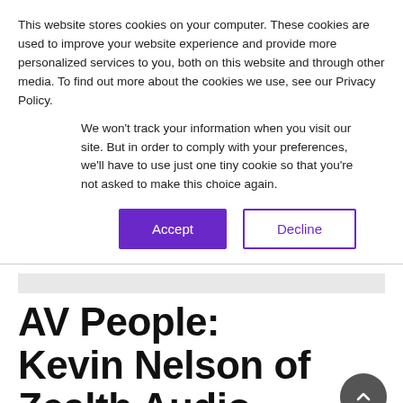This website stores cookies on your computer. These cookies are used to improve your website experience and provide more personalized services to you, both on this website and through other media. To find out more about the cookies we use, see our Privacy Policy.
We won't track your information when you visit our site. But in order to comply with your preferences, we'll have to use just one tiny cookie so that you're not asked to make this choice again.
[Figure (other): Two buttons: 'Accept' (purple filled) and 'Decline' (purple outline)]
AV People: Kevin Nelson of Zealth Audio